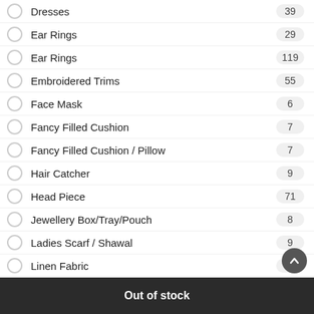Dresses  39
Ear Rings  29
Ear Rings  119
Embroidered Trims  55
Face Mask  6
Fancy Filled Cushion  7
Fancy Filled Cushion / Pillow  7
Hair Catcher  9
Head Piece  71
Jewellery Box/Tray/Pouch  8
Ladies Scarf / Shawal  9
Linen Fabric  2
Medallions/Tikka  17
Out of stock